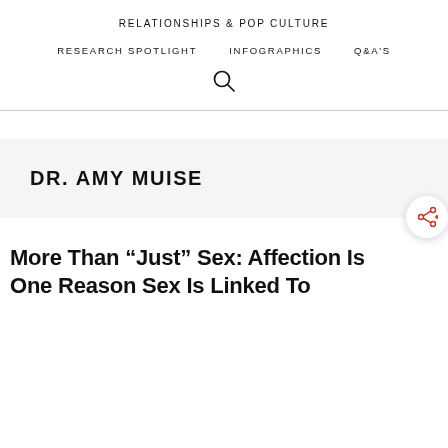RELATIONSHIPS & POP CULTURE
RESEARCH SPOTLIGHT   INFOGRAPHICS   Q&A'S
DR. AMY MUISE
More Than “Just” Sex: Affection Is One Reason Sex Is Linked To